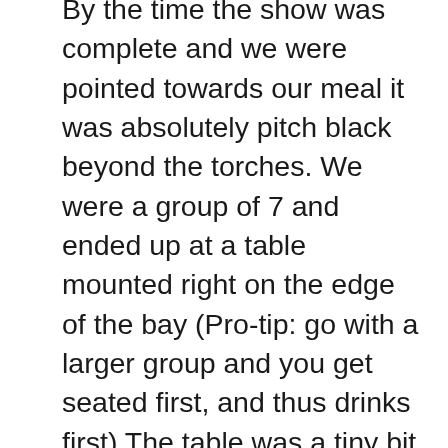By the time the show was complete and we were pointed towards our meal it was absolutely pitch black beyond the torches. We were a group of 7 and ended up at a table mounted right on the edge of the bay (Pro-tip: go with a larger group and you get seated first, and thus drinks first) The table was a tiny bit fear inducing as literally right behind my backless seat was a 20 foot drop straight into the crashing waves. It was not a place to get tipsy drunk. The view was gorgeous though. To our left and right were twinkles candles marking the various other tables stretched out across probably 5 different dining areas. Everything was spaced so as to keep things romantic and or private for the various tables. The underwater lights sent a faint teal glow around the area and as a backdrop for it all were the twinkling lights of the PV skyline in the distance.